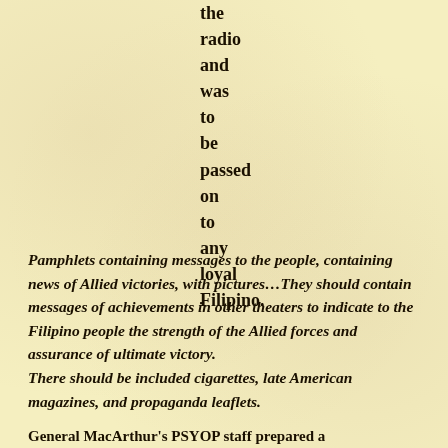the radio and was to be passed on to any loyal Filipino.
Pamphlets containing messages to the people, containing news of Allied victories, with pictures…They should contain messages of achievements in other theaters to indicate to the Filipino people the strength of the Allied forces and assurance of ultimate victory.
There should be included cigarettes, late American magazines, and propaganda leaflets.
General MacArthur's PSYOP staff prepared a